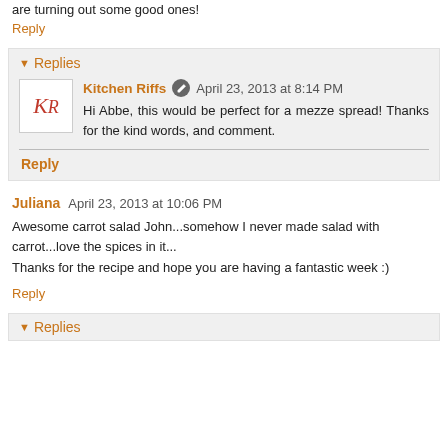are turning out some good ones!
Reply
Replies
Kitchen Riffs  April 23, 2013 at 8:14 PM
Hi Abbe, this would be perfect for a mezze spread! Thanks for the kind words, and comment.
Reply
Juliana  April 23, 2013 at 10:06 PM
Awesome carrot salad John...somehow I never made salad with carrot...love the spices in it...
Thanks for the recipe and hope you are having a fantastic week :)
Reply
Replies